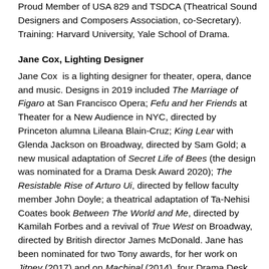Proud Member of USA 829 and TSDCA (Theatrical Sound Designers and Composers Association, co-Secretary). Training: Harvard University, Yale School of Drama.
Jane Cox, Lighting Designer
Jane Cox is a lighting designer for theater, opera, dance and music. Designs in 2019 included The Marriage of Figaro at San Francisco Opera; Fefu and her Friends at Theater for a New Audience in NYC, directed by Princeton alumna Lileana Blain-Cruz; King Lear with Glenda Jackson on Broadway, directed by Sam Gold; a new musical adaptation of Secret Life of Bees (the design was nominated for a Drama Desk Award 2020); The Resistable Rise of Arturo Ui, directed by fellow faculty member John Doyle; a theatrical adaptation of Ta-Nehisi Coates book Between The World and Me, directed by Kamilah Forbes and a revival of True West on Broadway, directed by British director James McDonald. Jane has been nominated for two Tony awards, for her work on Jitney (2017) and on Machinal (2014), four Drama Desk awards, and three